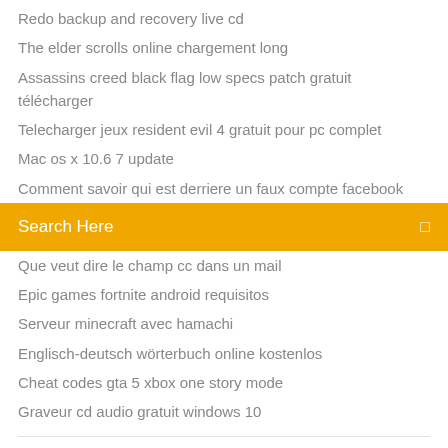Redo backup and recovery live cd
The elder scrolls online chargement long
Assassins creed black flag low specs patch gratuit télécharger
Telecharger jeux resident evil 4 gratuit pour pc complet
Mac os x 10.6 7 update
Comment savoir qui est derriere un faux compte facebook
[Figure (other): Orange search bar with text 'Search Here' and a search icon on the right]
Que veut dire le champ cc dans un mail
Epic games fortnite android requisitos
Serveur minecraft avec hamachi
Englisch-deutsch wörterbuch online kostenlos
Cheat codes gta 5 xbox one story mode
Graveur cd audio gratuit windows 10
Télécharger need for speed gratuitement (Android) -...
[Figure (other): Social media icons: facebook, twitter, globe/web, Behance]